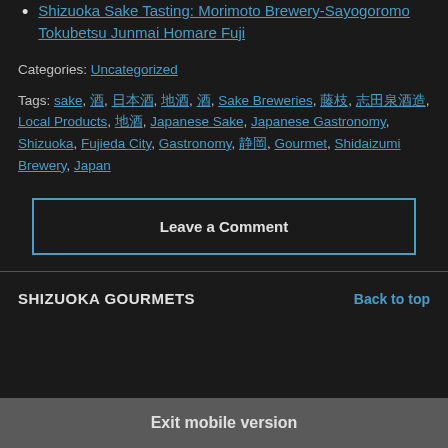Shizuoka Sake Tasting: Morimoto Brewery-Sayogoromo Tokubetsu Junmai Homare Fuji
Categories: Uncategorized
Tags: sake, 酒, 日本酒, 地酒, 酒, Sake Breweries, 藤枝, 志田泉酒造, Local Products, 地酒, Japanese Sake, Japanese Gastronomy, Shizuoka, Fujieda City, Gastronomy, 静岡, Gourmet, Shidaizumi Brewery, Japan
Leave a Comment
SHIZUOKA GOURMETS
Exit mobile version